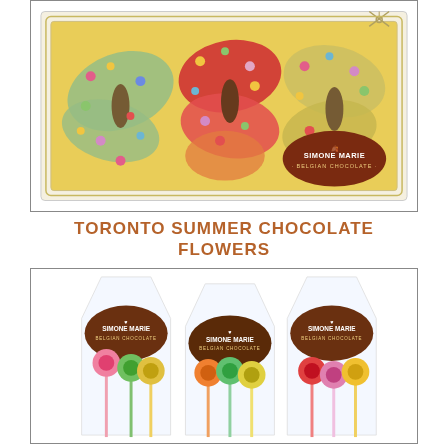[Figure (photo): Photo of a clear rectangular gift box containing butterfly-shaped Belgian chocolates covered in colorful sprinkles — green, red, orange, and yellow shapes with multicolored sugar pearls. A Simone Marie Belgian Chocolate oval logo tag is visible at bottom right. The box is tied with a thin twine bow.]
TORONTO SUMMER CHOCOLATE FLOWERS
[Figure (photo): Photo of three clear cellophane bags each containing flower-shaped Belgian chocolates on sticks (chocolate pops/lollipops). Each bag has a round Simone Marie Belgian Chocolate label. The chocolate flowers are in various pastel and bright colors — pink, green, yellow, red. Bags are arranged side by side.]